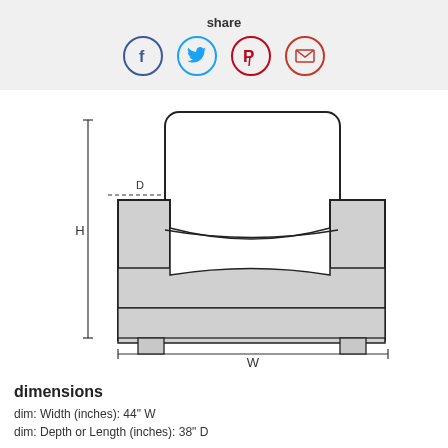share
[Figure (illustration): Front-view line drawing of an armchair with dimension annotation lines: H (height) on the left vertical, W (width) along the bottom horizontal, and D (depth) indicated with dashed lines near the arm.]
dimensions
dim: Width (inches): 44" W
dim: Depth or Length (inches): 38" D